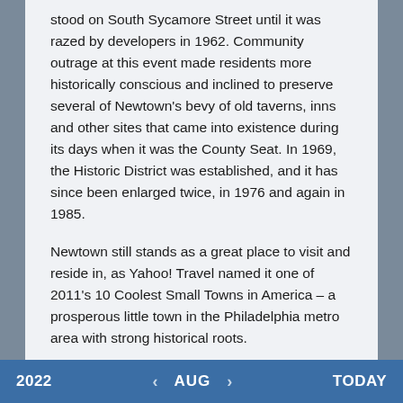stood on South Sycamore Street until it was razed by developers in 1962. Community outrage at this event made residents more historically conscious and inclined to preserve several of Newtown's bevy of old taverns, inns and other sites that came into existence during its days when it was the County Seat. In 1969, the Historic District was established, and it has since been enlarged twice, in 1976 and again in 1985.
Newtown still stands as a great place to visit and reside in, as Yahoo! Travel named it one of 2011's 10 Coolest Small Towns in America – a prosperous little town in the Philadelphia metro area with strong historical roots.
Sorry, no results found. Click here to return to the home page.
2022   <   AUG   >   TODAY